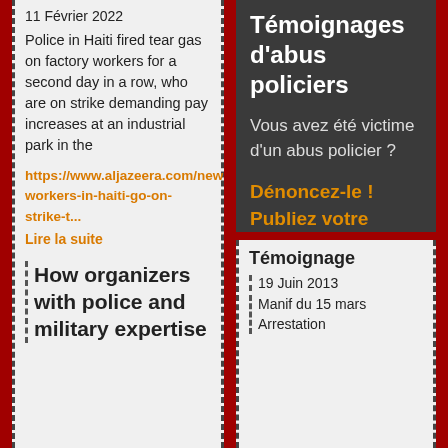11 Février 2022
Police in Haiti fired tear gas on factory workers for a second day in a row, who are on strike demanding pay increases at an industrial park in the
https://www.aljazeera.com/news/2022/2/10/factory-workers-in-haiti-go-on-strike-t...
Lire la suite
How organizers with police and military expertise
Témoignages d'abus policiers
Vous avez été victime d'un abus policier ?
Dénoncez-le ! Publiez votre témoignage
Témoignage
19 Juin 2013
Manif du 15 mars Arrestation